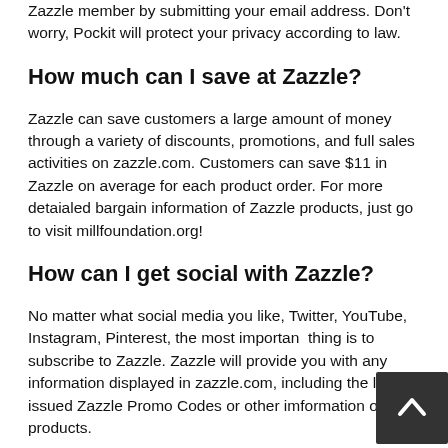Zazzle member by submitting your email address. Don't worry, Pockit will protect your privacy according to law.
How much can I save at Zazzle?
Zazzle can save customers a large amount of money through a variety of discounts, promotions, and full sales activities on zazzle.com. Customers can save $11 in Zazzle on average for each product order. For more detaialed bargain information of Zazzle products, just go to visit millfoundation.org!
How can I get social with Zazzle?
No matter what social media you like, Twitter, YouTube, Instagram, Pinterest, the most important thing is to subscribe to Zazzle. Zazzle will provide you with any information displayed in zazzle.com, including the latest issued Zazzle Promo Codes or other imformation of new products.